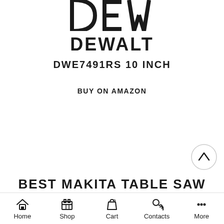[Figure (logo): Partial DEWALT logo image at the top of the page (letters partially cropped)]
DEWALT
DWE7491RS 10 INCH
BUY ON AMAZON
[Figure (other): Scroll-to-top circular button with upward arrow]
BEST MAKITA TABLE SAW
Home  Shop  Cart 0  Contacts  More